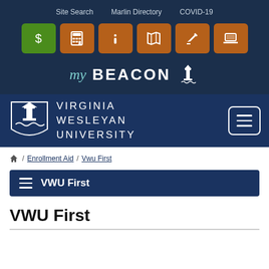Site Search   Marlin Directory   COVID-19
[Figure (screenshot): Row of icon buttons: dollar sign (green), calculator, info, map, edit, laptop (all orange)]
[Figure (logo): myBEACON logo with lighthouse icon on dark blue background]
[Figure (logo): Virginia Wesleyan University logo with lighthouse shield emblem on dark navy header, hamburger menu button on right]
Home / Enrollment Aid / Vwu First
VWU First
VWU First